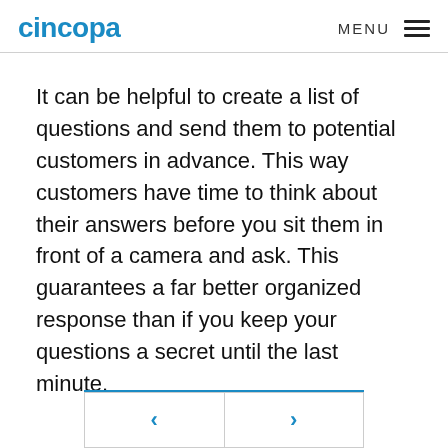cincopa  MENU
It can be helpful to create a list of questions and send them to potential customers in advance. This way customers have time to think about their answers before you sit them in front of a camera and ask. This guarantees a far better organized response than if you keep your questions a secret until the last minute.